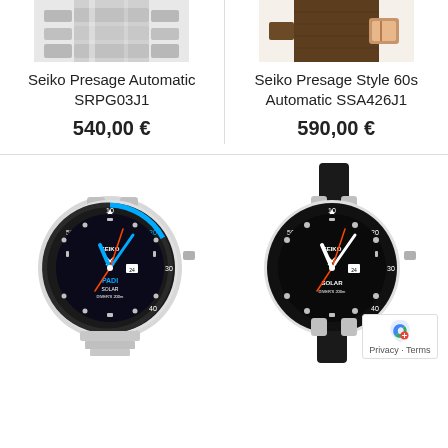[Figure (photo): Top portion of a Seiko Presage Automatic SRPG03J1 watch showing the bracelet/band area in silver]
[Figure (photo): Top portion of a Seiko Presage Style 60s Automatic SSA426J1 watch showing a brown NATO strap with rose gold hardware]
Seiko Presage Automatic SRPG03J1
540,00 €
Seiko Presage Style 60s Automatic SSA426J1
590,00 €
[Figure (photo): Seiko Prospex diver watch with black bezel and PADI Solar branding on a silver bracelet]
[Figure (photo): Seiko Prospex diver watch Solar with black bezel on a black rubber strap]